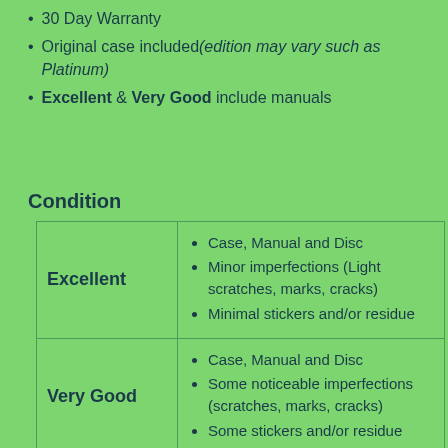30 Day Warranty
Original case included(edition may vary such as Platinum)
Excellent & Very Good include manuals
Condition
| Condition | Description |
| --- | --- |
| Excellent | Case, Manual and Disc
Minor imperfections (Light scratches, marks, cracks)
Minimal stickers and/or residue |
| Very Good | Case, Manual and Disc
Some noticeable imperfections (scratches, marks, cracks)
Some stickers and/or residue |